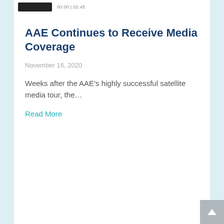00:00 | 02:45
AAE Continues to Receive Media Coverage
November 16, 2020
Weeks after the AAE's highly successful satellite media tour, the...
Read More